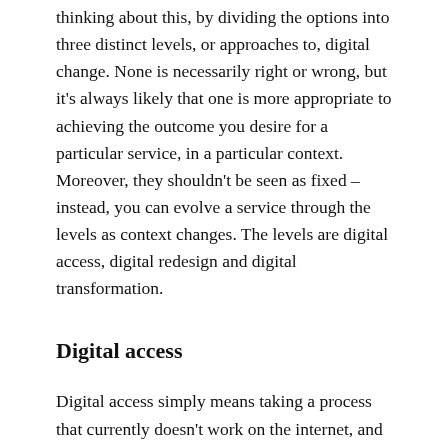thinking about this, by dividing the options into three distinct levels, or approaches to, digital change. None is necessarily right or wrong, but it's always likely that one is more appropriate to achieving the outcome you desire for a particular service, in a particular context. Moreover, they shouldn't be seen as fixed – instead, you can evolve a service through the levels as context changes. The levels are digital access, digital redesign and digital transformation.
Digital access
Digital access simply means taking a process that currently doesn't work on the internet, and making sure that it does. Much of the digital work before around 2012 was of this nature, often called things like transcomposition, data catalogues, shifting lots of